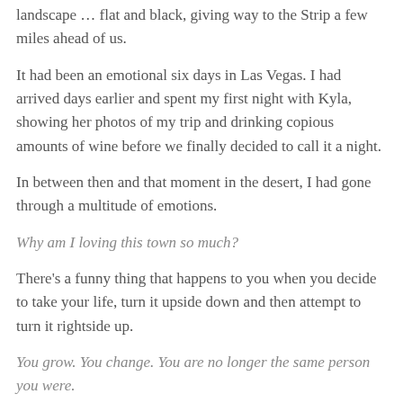I sat in the back of Brody's SUV, looking out into the nighttime desert landscape … flat and black, giving way to the Strip a few miles ahead of us.
It had been an emotional six days in Las Vegas. I had arrived days earlier and spent my first night with Kyla, showing her photos of my trip and drinking copious amounts of wine before we finally decided to call it a night.
In between then and that moment in the desert, I had gone through a multitude of emotions.
Why am I loving this town so much?
There's a funny thing that happens to you when you decide to take your life, turn it upside down and then attempt to turn it rightside up.
You grow. You change. You are no longer the same person you were.